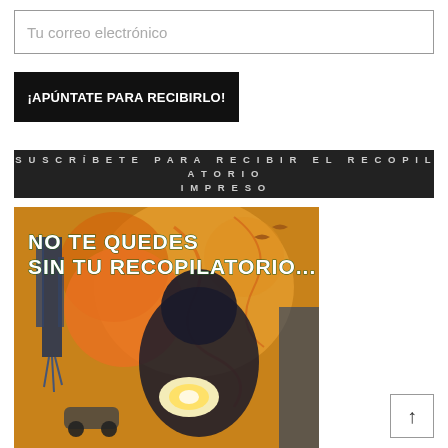Tu correo electrónico
¡APÚNTATE PARA RECIBIRLO!
SUSCRÍBETE PARA RECIBIR EL RECOPILATORIO IMPRESO
[Figure (illustration): Colorful mixed-media illustration of a child holding a glowing object, with industrial and organic elements. Text overlay reads: NO TE QUEDES SIN TU RECOPILATORIO...]
↑